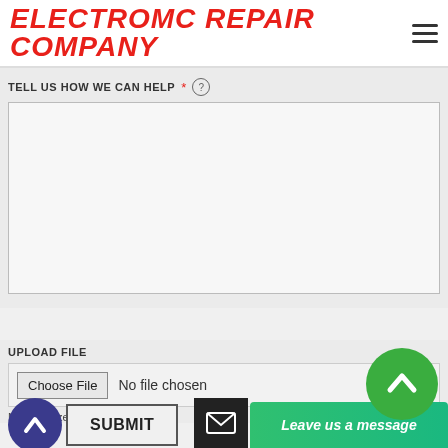ELECTROMC REPAIR COMPANY
TELL US HOW WE CAN HELP *
[Figure (screenshot): Large empty textarea input field for user message]
UPLOAD FILE
[Figure (screenshot): File upload input showing 'Choose File' button and 'No file chosen' text]
Max file size: 20MB
SUBMIT
Leave us a message